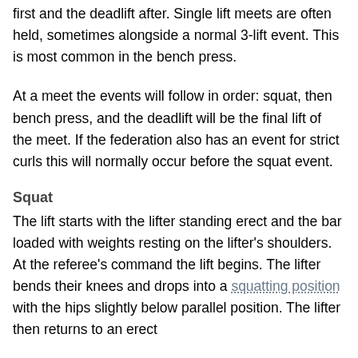first and the deadlift after. Single lift meets are often held, sometimes alongside a normal 3-lift event. This is most common in the bench press.
At a meet the events will follow in order: squat, then bench press, and the deadlift will be the final lift of the meet. If the federation also has an event for strict curls this will normally occur before the squat event.
Squat
The lift starts with the lifter standing erect and the bar loaded with weights resting on the lifter's shoulders. At the referee's command the lift begins. The lifter bends their knees and drops into a squatting position with the hips slightly below parallel position. The lifter then returns to an erect